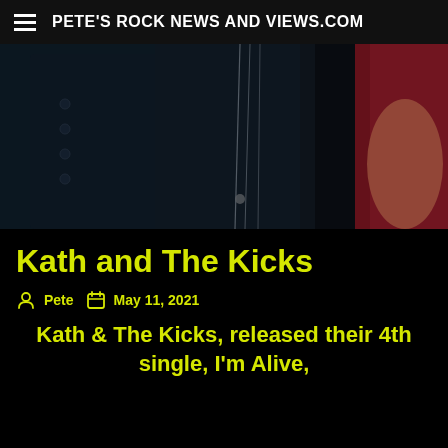PETE'S ROCK NEWS AND VIEWS.COM
[Figure (photo): Close-up photo of a person wearing a dark shirt with buttons and a chain/necklace, with another person in a red outfit partially visible on the right side. Dark, moody lighting with blue-tinted tones.]
Kath and The Kicks
Pete  May 11, 2021
Kath & The Kicks, released their 4th single, I'm Alive,